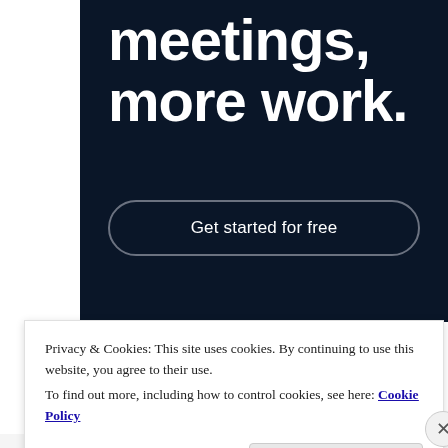meetings, more work.
Get started for free
Privacy & Cookies: This site uses cookies. By continuing to use this website, you agree to their use.
To find out more, including how to control cookies, see here: Cookie Policy
Close and accept